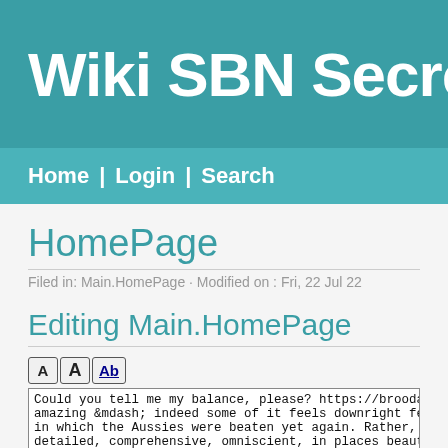Wiki SBN Secreta
Home | Login | Search
HomePage
Filed in: Main.HomePage · Modified on : Fri, 22 Jul 22
Editing Main.HomePage
Could you tell me my balance, please? https://broodaa amazing &mdash; indeed some of it feels downright fee in which the Aussies were beaten yet again. Rather, t detailed, comprehensive, omniscient, in places beauti